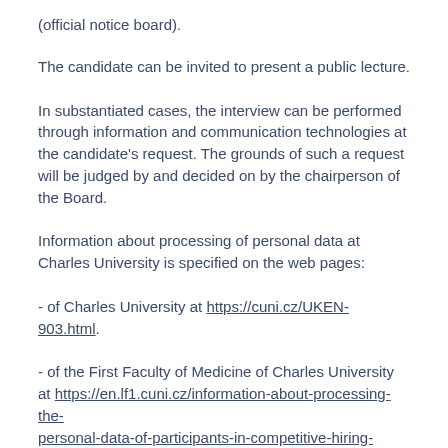(official notice board).
The candidate can be invited to present a public lecture.
In substantiated cases, the interview can be performed through information and communication technologies at the candidate's request. The grounds of such a request will be judged by and decided on by the chairperson of the Board.
Information about processing of personal data at Charles University is specified on the web pages:
- of Charles University at https://cuni.cz/UKEN-903.html.
- of the First Faculty of Medicine of Charles University at https://en.lf1.cuni.cz/information-about-processing-the-personal-data-of-participants-in-competitive-hiring-procedure-